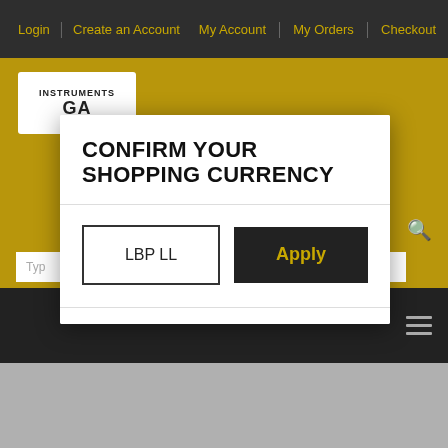Login | Create an Account   My Account | My Orders | Checkout
[Figure (logo): Instruments Garage logo box with text INSTRUMENTS GA...]
CONFIRM YOUR SHOPPING CURRENCY
LBP LL
Apply
Type...